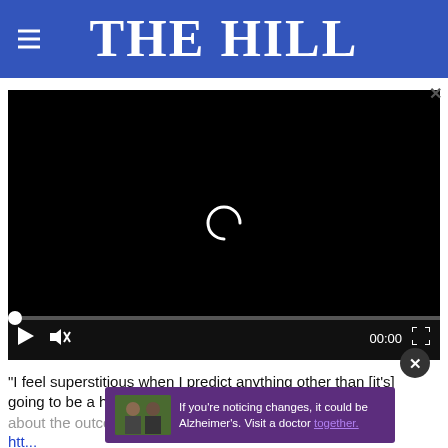THE HILL
[Figure (screenshot): Video player showing a black loading screen with a white spinner/loading arc, video controls at bottom including play button, mute button, timestamp 00:00, and fullscreen button. A seek bar with a white thumb at position 0 is at the top of the controls.]
"I feel superstitious when I predict anything other than [it's] going to be a hard fight," says Joe Biden about the outcome of the presidential election.
http... pic.twitter.com/hMNbhVThG
[Figure (photo): Advertisement overlay: two men standing outdoors. Purple background with text: 'If you're noticing changes, it could be Alzheimer's. Visit a doctor together.']